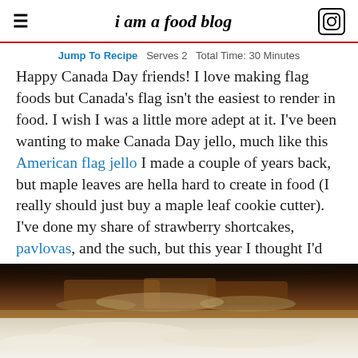i am a food blog
Jump To Recipe  Serves 2  Total Time: 30 Minutes
Happy Canada Day friends! I love making flag foods but Canada's flag isn't the easiest to render in food. I wish I was a little more adept at it. I've been wanting to make Canada Day jello, much like this American flag jello I made a couple of years back, but maple leaves are hella hard to create in food (I really should just buy a maple leaf cookie cutter). I've done my share of strawberry shortcakes, pavlovas, and the such, but this year I thought I'd bring a savory swing to things.
[Figure (photo): Close-up photo of food in a dark pan, with creamy white contents below, likely a savory dish related to Canada Day]